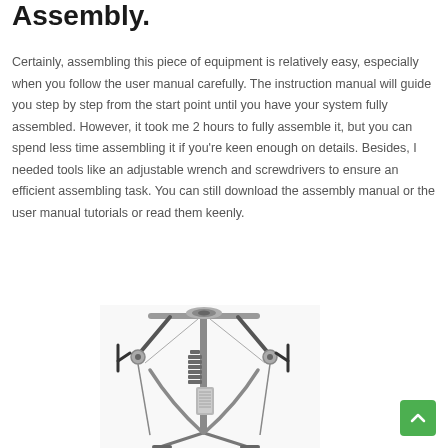Assembly.
Certainly, assembling this piece of equipment is relatively easy, especially when you follow the user manual carefully. The instruction manual will guide you step by step from the start point until you have your system fully assembled. However, it took me 2 hours to fully assemble it, but you can spend less time assembling it if you're keen enough on details. Besides, I needed tools like an adjustable wrench and screwdrivers to ensure an efficient assembling task. You can still download the assembly manual or the user manual tutorials or read them keenly.
[Figure (photo): A home gym cable machine / multi-gym equipment with pulleys, cables, and weight stacks, shown in a silver/grey metallic finish.]